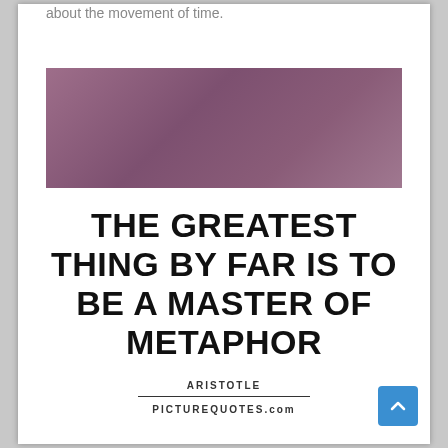about the movement of time.
[Figure (illustration): A horizontal rectangular banner with a muted purple/mauve gradient color, used as a decorative image element for a quote card.]
THE GREATEST THING BY FAR IS TO BE A MASTER OF METAPHOR
ARISTOTLE
PICTUREQUOTES.com